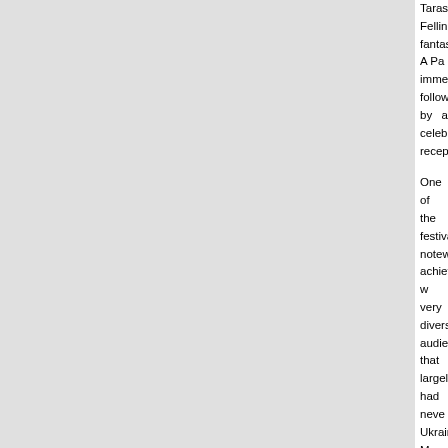Taras Tomenko's Felliniesque fantasy A Pa... immediately followed by a celebratory reception.
One of the festival's noteworthy achievements w... very diverse audience that largely had neve... Ukrainian Museum. Many expressed their awe a... the Ukrainian community, in particular the cons... still-new facility and its impressive exhibitions.
The festival's success can be attributed to the Ki... many volunteers who contributed much of thei... and during the weekend. Special thanks go t... director Andrew Kotliar, who conceived of th... program to the Museum, and to Damian Kolod... director, who worked tirelessly to put together a t... guest speakers and films. It is also important... efforts of print designer Natasha Mikhalchuk, op... Duff, Bohdana Smyrnova for publicity and o... (Kyiv) Dmytro Zakharevych, film coordinator ... Denysenko, and programming advisor Alexande...
Other Kinofest NYC volunteers included Joe Cr... Mateusz Drozolzewski, Fitzgerald East Jr., N... Gladun, Olesia Ivanyshyn, Iryna Koshulap, Serhi... Slobodian, Jonathan Spiteri, Greg Szumel, Nata... Nadia Tatchin, Olena Vivchar, and Yurii Zobkiv.
Together, the entire team, which included Hanya... the Museum's film program and acted as the...